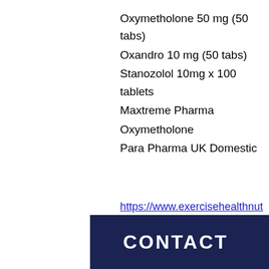Oxymetholone 50 mg (50 tabs)
Oxandro 10 mg (50 tabs)
Stanozolol 10mg x 100 tablets
Maxtreme Pharma
Oxymetholone
Para Pharma UK Domestic
https://www.exercisehealthnutrition.org/profile/wadegreenblatt503793/profile https://www.yodfatstyle.com/profile/malisaruthers1728129/profile https://www.pinchjob.com/profile/georgedafonte286371/profile https://www.faith4ever.org/profile/shaloncerutti1090946/profile
CONTACT